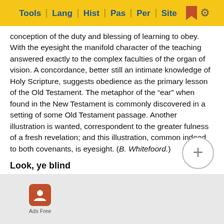Tools | Lang | Hist | Pas | Per | Site
conception of the duty and blessing of learning to obey. With the eyesight the manifold character of the teaching answered exactly to the complex faculties of the organ of vision. A concordance, better still an intimate knowledge of Holy Scripture, suggests obedience as the primary lesson of the Old Testament. The metaphor of the “ear” when found in the New Testament is commonly discovered in a setting of some Old Testament passage. Another illustration is wanted, correspondent to the greater fulness of a fresh revelation; and this illustration, common indeed to both covenants, is eyesight. (B. Whitefoord.)
Look, ye blind
Eyesight
ligence and candour, receptiveness and perseverance, faith, [obscured] ny lesson [obscured] t. (B. Whitefoord.)